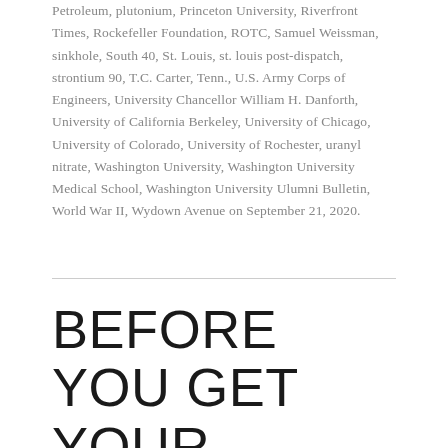Petroleum, plutonium, Princeton University, Riverfront Times, Rockefeller Foundation, ROTC, Samuel Weissman, sinkhole, South 40, St. Louis, st. louis post-dispatch, strontium 90, T.C. Carter, Tenn., U.S. Army Corps of Engineers, University Chancellor William H. Danforth, University of California Berkeley, University of Chicago, University of Colorado, University of Rochester, uranyl nitrate, Washington University, Washington University Medical School, Washington University Ulumni Bulletin, World War II, Wydown Avenue on September 21, 2020.
BEFORE YOU GET YOUR CHECKBOOK